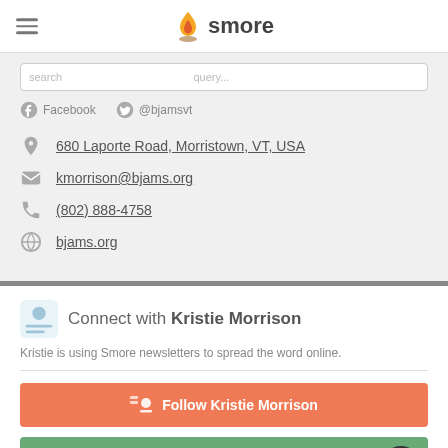smore
Facebook  @bjamsvt
680 Laporte Road, Morristown, VT, USA
kmorrison@bjams.org
(802) 888-4758
bjams.org
Connect with Kristie Morrison
Kristie is using Smore newsletters to spread the word online.
Follow Kristie Morrison
Contact Kristie Morrison